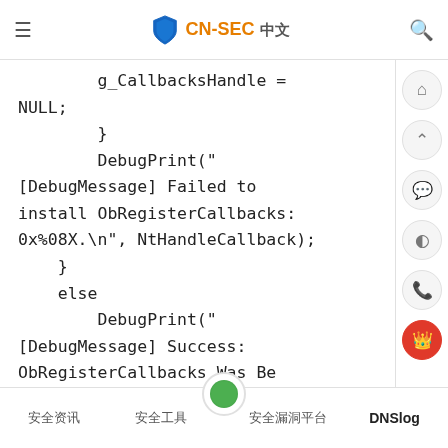CN-SEC 中文
g_CallbacksHandle = NULL;
        }
        DebugPrint("[DebugMessage] Failed to install ObRegisterCallbacks: 0x%08X.\n", NtHandleCallback);
    }
    else
        DebugPrint("[DebugMessage] Success: ObRegisterCallbacks Was Be Install\n");
    }

    PsSetCreateProcessNotifyRoutine(CreateProcessN
安全资讯    安全工具    安全漏洞平台    DNSlog